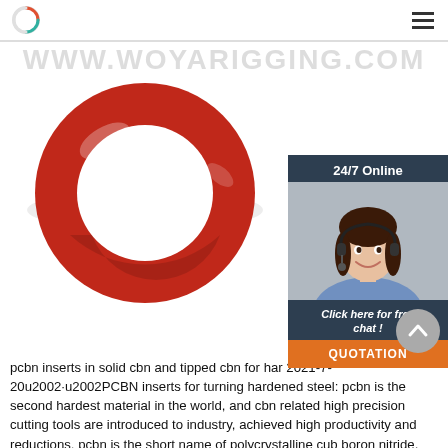www.woyarigging.com
[Figure (photo): Red painted steel O-ring / lifting ring hardware product on white background]
[Figure (infographic): 24/7 Online chat widget with customer service representative photo, 'Click here for free chat!' button, and orange QUOTATION button]
pcbn inserts in solid cbn and tipped cbn for har 2021-7-20u2002·u2002PCBN inserts for turning hardened steel: pcbn is the second hardest material in the world, and cbn related high precision cutting tools are introduced to industry, achieved high productivity and reductions. pcbn is the short name of polycrystalline cubic boron nitride, and pcbn inserts are mainly for the hard metal turning to replace the conventional machining way of grinding.